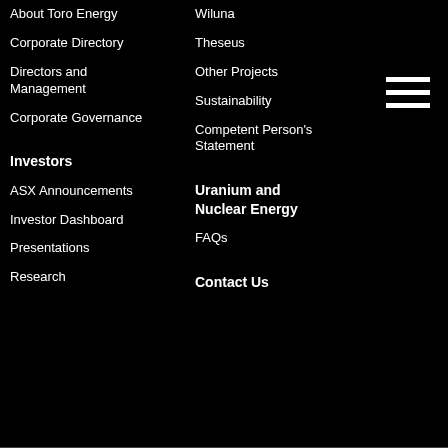About Toro Energy
Corporate Directory
Directors and Management
Corporate Governance
Wiluna
Theseus
Other Projects
Sustainability
Competent Person's Statement
Investors
ASX Announcements
Investor Dashboard
Presentations
Research
Uranium and Nuclear Energy
FAQs
Contact Us